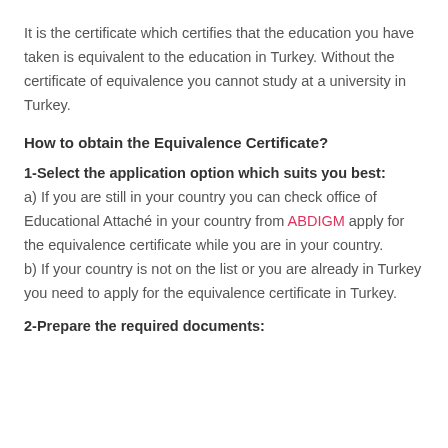It is the certificate which certifies that the education you have taken is equivalent to the education in Turkey. Without the certificate of equivalence you cannot study at a university in Turkey.
How to obtain the Equivalence Certificate?
1-Select the application option which suits you best:
a) If you are still in your country you can check office of Educational Attaché in your country from ABDIGM apply for the equivalence certificate while you are in your country. b) If your country is not on the list or you are already in Turkey you need to apply for the equivalence certificate in Turkey.
2-Prepare the required documents: